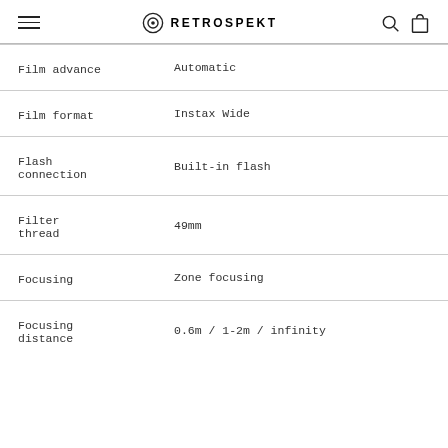RETROSPEKT
| Property | Value |
| --- | --- |
| Film advance | Automatic |
| Film format | Instax Wide |
| Flash connection | Built-in flash |
| Filter thread | 49mm |
| Focusing | Zone focusing |
| Focusing distance | 0.6m / 1-2m / infinity |